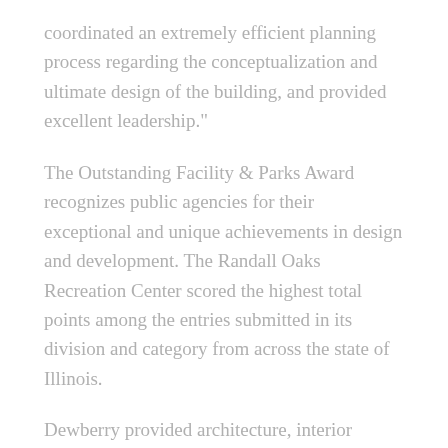coordinated an extremely efficient planning process regarding the conceptualization and ultimate design of the building, and provided excellent leadership."
The Outstanding Facility & Parks Award recognizes public agencies for their exceptional and unique achievements in design and development. The Randall Oaks Recreation Center scored the highest total points among the entries submitted in its division and category from across the state of Illinois.
Dewberry provided architecture, interior design, structural engineering, and IT and security consulting for the project. Metro Design Associates provided mechanical/electrical engineering and Engineering Enterprises, Inc. was responsible for civil engineering. Lamp, Inc. served as the construction manager.